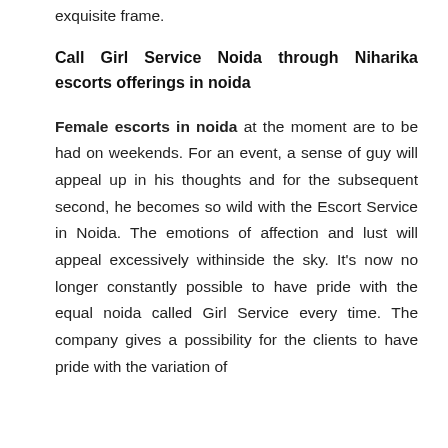exquisite frame.
Call Girl Service Noida through Niharika escorts offerings in noida
Female escorts in noida at the moment are to be had on weekends. For an event, a sense of guy will appeal up in his thoughts and for the subsequent second, he becomes so wild with the Escort Service in Noida. The emotions of affection and lust will appeal excessively withinside the sky. It's now no longer constantly possible to have pride with the equal noida called Girl Service every time. The company gives a possibility for the clients to have pride with the variation of